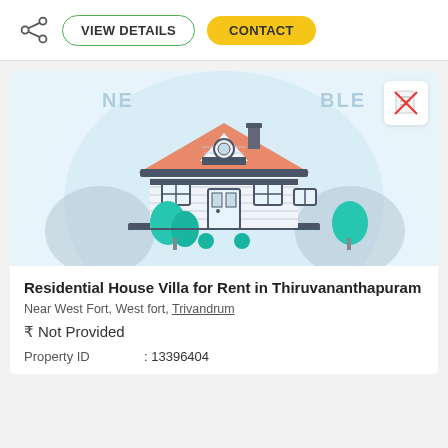[Figure (illustration): Share icon (three circles connected), VIEW DETAILS button with green border, CONTACT button with yellow background]
[Figure (illustration): Illustration of a residential house/villa with orange roof, white walls, trees, and a light blue background. Text 'NE...BLE' (NEGOTIABLE) partially visible. No-document badge icon top right.]
Residential House Villa for Rent in Thiruvananthapuram
Near West Fort, West fort, Trivandrum
₹ Not Provided
Property ID : 13396404